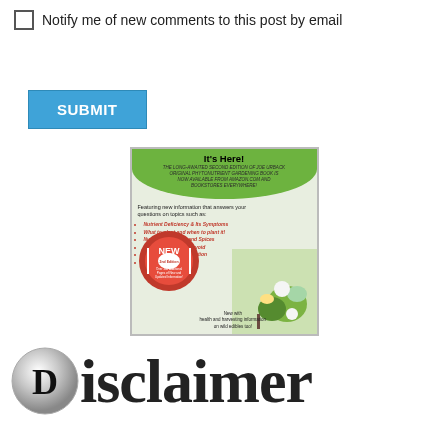Notify me of new comments to this post by email
SUBMIT
[Figure (illustration): Book advertisement for the second edition of Joe Urback's Phytonutrient Gardening book. Features a green banner with 'It's Here!' title, bullet list of topics in red italic text, a red 'NEW' badge, and vegetable imagery. Topics include: Nutrient Deficiency & Its Symptoms, What to plant and when to plant it!, Nutrients in Herbs and Spices, What Ingredients to Avoid, The Homeopathy Question, The Protein Question. Bottom text: New with health and harvesting information on wild edibles too!]
Disclaimer